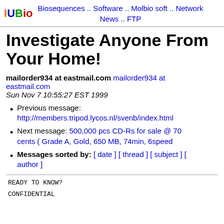IUBio  Biosequences .. Software .. Molbio soft .. Network News .. FTP
Investigate Anyone From Your Home!
mailorder934 at eastmail.com mailorder934 at eastmail.com
Sun Nov 7 10:55:27 EST 1999
Previous message: http://members.tripod.lycos.nl/svenb/index.html
Next message: 500,000 pcs CD-Rs for sale @ 70 cents ( Grade A, Gold, 650 MB, 74min, 6speed
Messages sorted by: [ date ] [ thread ] [ subject ] [ author ]
READY TO KNOW?
CONFIDENTIAL